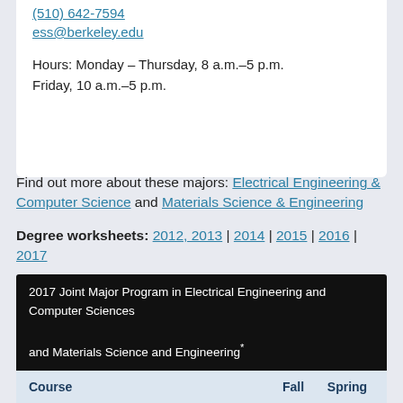(510) 642-7594
ess@berkeley.edu

Hours: Monday – Thursday, 8 a.m.–5 p.m.
Friday, 10 a.m.–5 p.m.
Find out more about these majors: Electrical Engineering & Computer Science and Materials Science & Engineering
Degree worksheets: 2012, 2013 | 2014 | 2015 | 2016 | 2017
Previous Undergraduate Programs: 2013 | 2014 | 2015 | 2016
| Course | Fall | Spring |
| --- | --- | --- |
| 2017 Joint Major Program in Electrical Engineering and Computer Sciences and Materials Science and Engineering* |  |  |